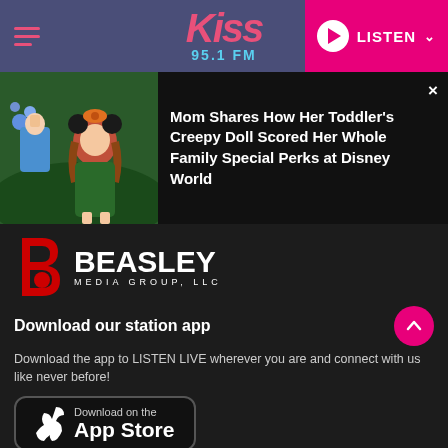[Figure (logo): Kiss 95.1 FM radio station logo in pink italic font on purple/dark blue header bar]
LISTEN
[Figure (photo): Young girl dressed as Minnie Mouse holding a doll dressed as Elsa from Frozen]
Mom Shares How Her Toddler's Creepy Doll Scored Her Whole Family Special Perks at Disney World
[Figure (logo): Beasley Media Group LLC logo - red b icon with BEASLEY in large white bold text and MEDIA GROUP, LLC below]
Download our station app
Download the app to LISTEN LIVE wherever you are and connect with us like never before!
[Figure (other): Download on the App Store button with Apple logo]